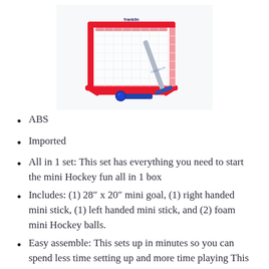[Figure (photo): A Franklin mini hockey goal set with red frame and white net, a blue hockey stick, and a blue puck/ball in front.]
ABS
Imported
All in 1 set: This set has everything you need to start the mini Hockey fun all in 1 box
Includes: (1) 28″ x 20″ mini goal, (1) right handed mini stick, (1) left handed mini stick, and (2) foam mini Hockey balls.
Easy assemble: This sets up in minutes so you can spend less time setting up and more time playing This rugged, durable indoor Hockey set is perfect